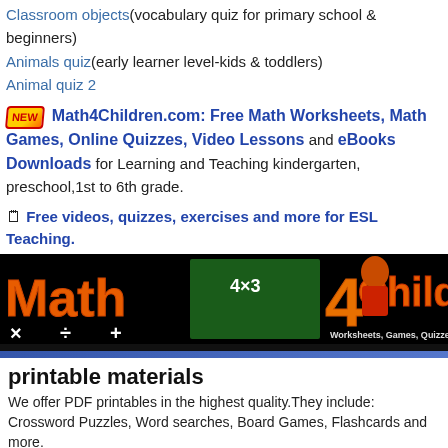Classroom objects(vocabulary quiz for primary school & beginners)
Animals quiz(early learner level-kids & toddlers)
Animal quiz 2
NEW Math4Children.com: Free Math Worksheets, Math Games, Online Quizzes, Video Lessons and eBooks Downloads for Learning and Teaching kindergarten, preschool,1st to 6th grade.
🗒 Free videos, quizzes, exercises and more for ESL Teaching.
[Figure (illustration): Math4Children banner with orange and yellow text on black background showing a cartoon child, math symbols and text: Worksheets, Games, Quizzes & Videos]
printable materials
We offer PDF printables in the highest quality.They include: Crossword Puzzles, Word searches, Board Games, Flashcards and more.
esl fun games
ESL games for Classrooms: We have ideas for making lessons fun, PPT Games, Printable Games, and interactive online games for self-